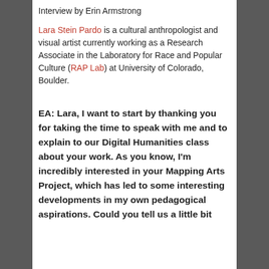Interview by Erin Armstrong
Lara Stein Pardo is a cultural anthropologist and visual artist currently working as a Research Associate in the Laboratory for Race and Popular Culture (RAP Lab) at University of Colorado, Boulder.
EA: Lara, I want to start by thanking you for taking the time to speak with me and to explain to our Digital Humanities class about your work. As you know, I'm incredibly interested in your Mapping Arts Project, which has led to some interesting developments in my own pedagogical aspirations. Could you tell us a little bit